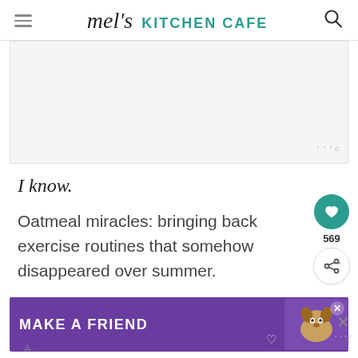mel's KITCHEN CAFE
[Figure (other): Advertisement placeholder box with watermark icon in bottom right corner]
I know.
Oatmeal miracles: bringing back exercise routines that somehow disappeared over summer.
[Figure (other): Side buttons: heart/save button (teal circle) with count 569, and share button (white circle)]
[Figure (other): Bottom advertisement banner: purple background with text MAKE A FRIEND and a dog image]